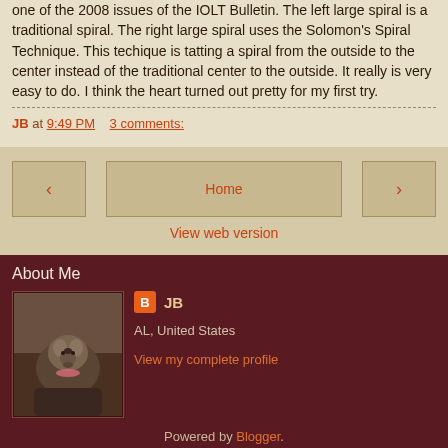one of the 2008 issues of the IOLT Bulletin. The left large spiral is a traditional spiral. The right large spiral uses the Solomon's Spiral Technique. This techique is tatting a spiral from the outside to the center instead of the traditional center to the outside. It really is very easy to do. I think the heart turned out pretty for my first try.
JB at 9:49 PM   3 comments:
[Figure (screenshot): Blog navigation buttons: left arrow, Home, right arrow, and View web version link]
About Me
[Figure (photo): Photo of a small dog (Yorkshire Terrier) with a pink bow, sitting on a surface]
JB
AL, United States
View my complete profile
Powered by Blogger.